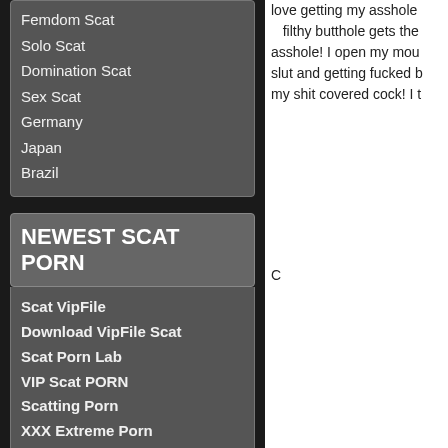Femdom Scat
Solo Scat
Domination Scat
Sex Scat
Germany
Japan
Brazil
NEWEST SCAT PORN
Scat VipFile
Download VipFile Scat
Scat Porn Lab
VIP Scat PORN
Scatting Porn
XXX Extreme Porn
Scatting Sex
Scat-Slaves
Scat-Shop
Scat-Porn-XXX
love getting my asshole... filthy butthole gets the... asshole! I open my mou... slut and getting fucked b... my shit covered cock! I t...